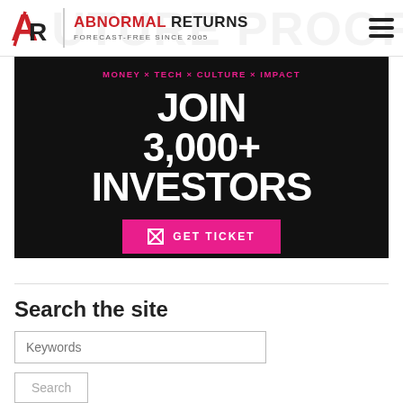ABNORMAL RETURNS — FORECAST-FREE SINCE 2005
[Figure (infographic): Black banner ad: MONEY × TECH × CULTURE × IMPACT — JOIN 3,000+ INVESTORS — GET TICKET button in pink]
Search the site
Keywords
Search